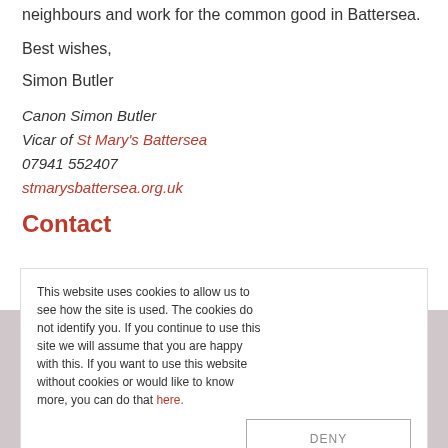neighbours and work for the common good in Battersea.
Best wishes,
Simon Butler
Canon Simon Butler
Vicar of St Mary's Battersea
07941 552407
stmarysbattersea.org.uk
Contact
This website uses cookies to allow us to see how the site is used. The cookies do not identify you. If you continue to use this site we will assume that you are happy with this. If you want to use this website without cookies or would like to know more, you can do that here.